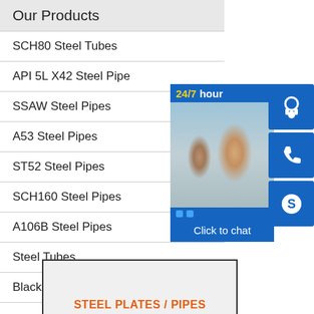Our Products
SCH80 Steel Tubes
API 5L X42 Steel Pipe
SSAW Steel Pipes
A53 Steel Pipes
ST52 Steel Pipes
SCH160 Steel Pipes
A106B Steel Pipes
Steel Tubes
Black Steel Pipes
[Figure (infographic): 24/7 hour customer support widget with photo of support agents, headset icon, phone icon, Skype icon, and Click to chat button]
[Figure (infographic): Partial view of a promotional box with border showing text STEEL PLATES / PIPES in orange/red]
STEEL PLATES / PIPES